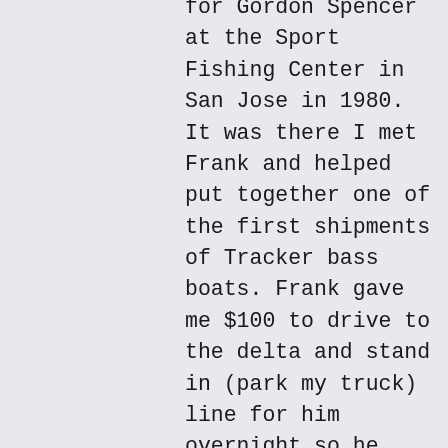for Gordon Spencer at the Sport Fishing Center in San Jose in 1980. It was there I met Frank and helped put together one of the first shipments of Tracker bass boats. Frank gave me $100 to drive to the delta and stand in (park my truck) line for him overnight so he could buy one of the first lots at Discovery Bay. I think I spent more on gas for my old 1974 Chevy pickup truck to drive to San Jose from Palo Alto to work but it was worth the experience. Pouring jig heads, tying living